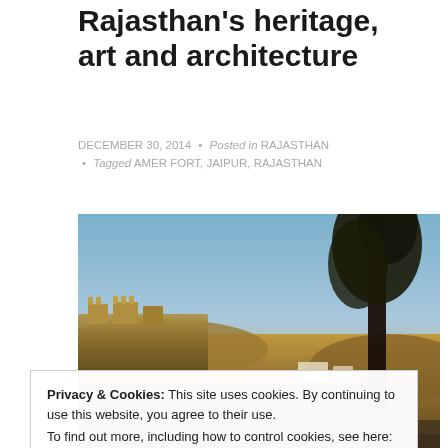Rajasthan's heritage, art and architecture
DECEMBER 30, 2014 • Posted in RAJASTHAN • Tagged AMER FORT, JAIPUR, RAJASTHAN
[Figure (photo): Landscape photo of Amer Fort in Jaipur, Rajasthan at golden hour with a dark tree silhouette on the right, fort structures visible on a hillside]
Privacy & Cookies: This site uses cookies. By continuing to use this website, you agree to their use.
To find out more, including how to control cookies, see here:
Cookie Policy
Close and accept